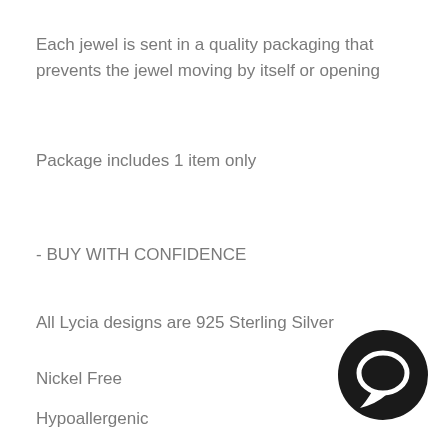Each jewel is sent in a quality packaging that prevents the jewel moving by itself or opening
Package includes 1 item only
- BUY WITH CONFIDENCE
All Lycia designs are 925 Sterling Silver
Nickel Free
Hypoallergenic
Tarnish free in correct usage. Just try to w... your Lycia on regular basis, keep it away from